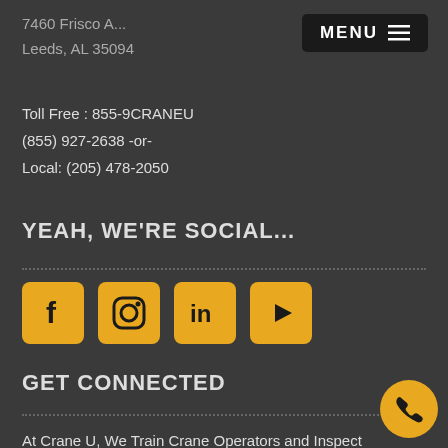7460 Frisco A...
Leeds, AL 35094
Toll Free : 855-9CRANEU
(855) 927-2638 -or-
Local: (205) 478-2050
YEAH, WE'RE SOCIAL...
[Figure (infographic): Four social media icons: Facebook (f), Instagram (camera), LinkedIn (in), YouTube (play button), all in golden/amber color on rounded square backgrounds]
GET CONNECTED
At Crane U, We Train Crane Operators and Inspect Cranes All Throughout The United States of America and Select Locations Internationally.